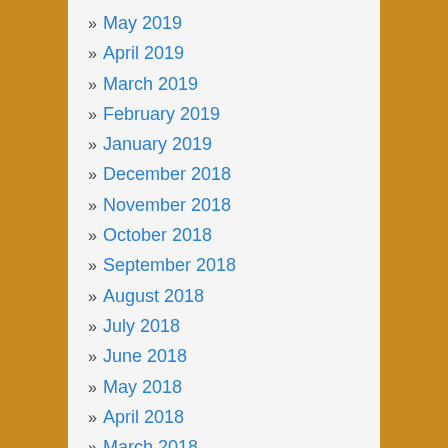May 2019
April 2019
March 2019
February 2019
January 2019
December 2018
November 2018
October 2018
September 2018
August 2018
July 2018
June 2018
May 2018
April 2018
March 2018
February 2018
January 2018
December 2017
November 2017
October 2017
September 2017